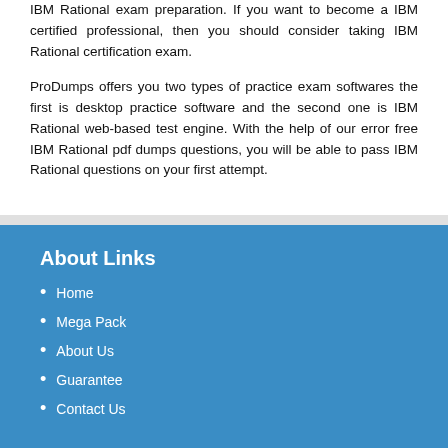IBM Rational exam preparation. If you want to become a IBM certified professional, then you should consider taking IBM Rational certification exam.
ProDumps offers you two types of practice exam softwares the first is desktop practice software and the second one is IBM Rational web-based test engine. With the help of our error free IBM Rational pdf dumps questions, you will be able to pass IBM Rational questions on your first attempt.
About Links
Home
Mega Pack
About Us
Guarantee
Contact Us
Need Help
All Vendors
FAQs